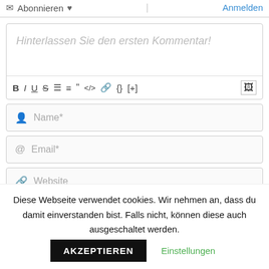Abonnieren ♥  |  Anmelden
Hinterlassen Sie den ersten Kommentar!
[Figure (screenshot): Comment text editor toolbar with Bold, Italic, Underline, Strikethrough, Ordered list, Unordered list, Quote, Code, Link, Block, [+], and Image buttons]
Name*
Email*
Website
[Figure (screenshot): reCAPTCHA widget with checkbox and reCAPTCHA logo, partially visible]
Diese Webseite verwendet cookies. Wir nehmen an, dass du damit einverstanden bist. Falls nicht, können diese auch ausgeschaltet werden.
AKZEPTIEREN
Einstellungen